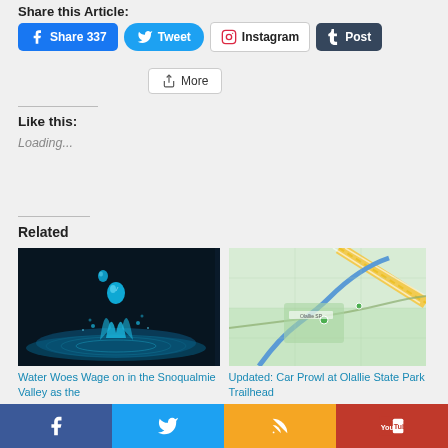Share this Article:
[Figure (screenshot): Social share buttons: Facebook Share 337, Tweet, Instagram, Tumblr Post, and More]
Like this:
Loading...
Related
[Figure (photo): Water droplet splash photo on dark background]
Water Woes Wage on in the Snoqualmie Valley as the
[Figure (map): Map screenshot showing Olallie State Park Trailhead area]
Updated: Car Prowl at Olallie State Park Trailhead
[Figure (screenshot): Bottom social media bar with Facebook, Twitter, RSS, and YouTube icons]